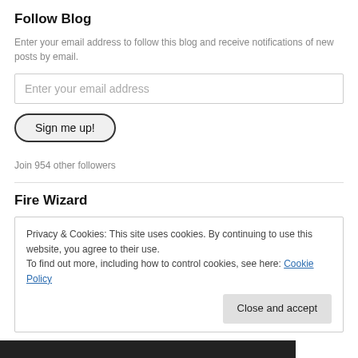Follow Blog
Enter your email address to follow this blog and receive notifications of new posts by email.
Enter your email address
Sign me up!
Join 954 other followers
Fire Wizard
Privacy & Cookies: This site uses cookies. By continuing to use this website, you agree to their use.
To find out more, including how to control cookies, see here: Cookie Policy
Close and accept